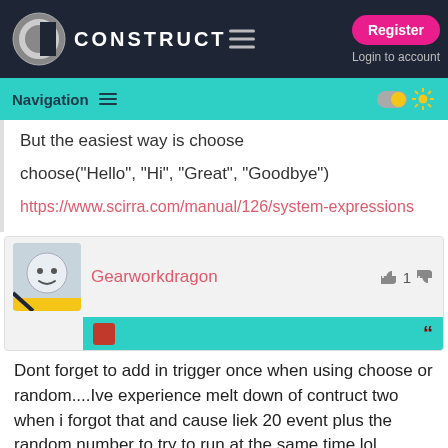CONSTRUCT — Register / Login to account
Navigation
But the easiest way is  choose
choose("Hello", "Hi", "Great", "Goodbye")
https://www.scirra.com/manual/126/system-expressions
Gearworkdragon
Dont forget to add in trigger once when using choose or random....Ive experience melt down of contruct two when i forgot that and cause liek 20 event plus the random number to try to run at the same time lol